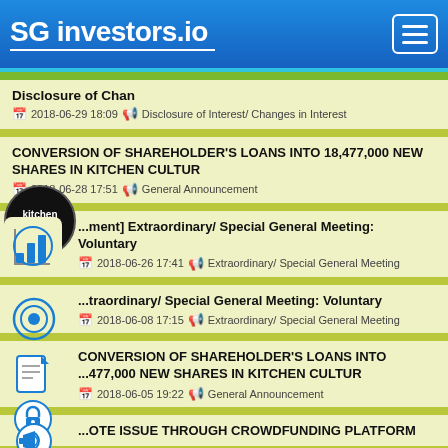SG investors.io
Disclosure of Chan
2018-06-29 18:09  Disclosure of Interest/ Changes in Interest
CONVERSION OF SHAREHOLDER'S LOANS INTO 18,477,000 NEW SHARES IN KITCHEN CULTUR
2018-06-28 17:51  General Announcement
[...ment] Extraordinary/ Special General Meeting: Voluntary
2018-06-26 17:41  Extraordinary/ Special General Meeting
...traordinary/ Special General Meeting: Voluntary
2018-06-08 17:15  Extraordinary/ Special General Meeting
CONVERSION OF SHAREHOLDER'S LOANS INTO ...477,000 NEW SHARES IN KITCHEN CULTUR
2018-06-05 19:22  General Announcement
...OTE ISSUE THROUGH CROWDFUNDING PLATFORM